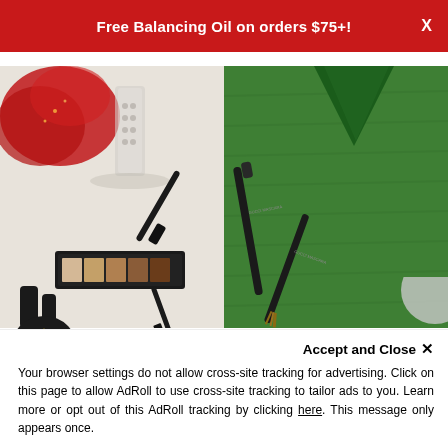Free Balancing Oil on orders $75+!
[Figure (photo): Two product photography images side by side: left image shows makeup products (eyeshadow palette, mascaras, and lip products) on a white background with red lace fabric; right image shows makeup products (mascara wand and eyeliner pen) on a green grass background with a green cone object]
Your browser settings do not allow cross-site tracking for advertising. Click on this page to allow AdRoll to use cross-site tracking to tailor ads to you. Learn more or opt out of this AdRoll tracking by clicking here. This message only appears once.